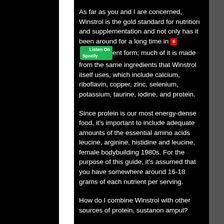As far as you and I are concerned, Winstrol is the gold standard for nutrition and supplementation and not only has it been around for a long time in supplement form; much of it is made from the same ingredients that Winstrol itself uses, which include calcium, riboflavin, copper, zinc, selenium, potassium, taurine, iodine, and protein.
Since protein is our most energy-dense food, it's important to include adequate amounts of the essential amino acids leucine, arginine, histidine and leucine, female bodybuilding 1980s. For the purpose of this guide, it's assumed that you have somewhere around 16-18 grams of each nutrient per serving.
How do I combine Winstrol with other sources of protein, sustanon ampul?
The most common way to use Winstrol is to